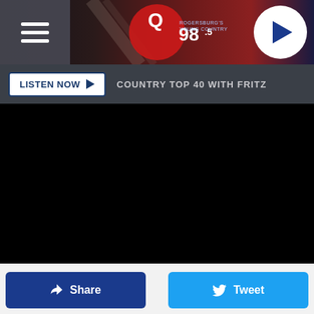[Figure (screenshot): Q98.5 radio station header with hamburger menu on left, Q98.5 logo in center on red/dark background, circular play button on right]
LISTEN NOW ▶  COUNTRY TOP 40 WITH FRITZ
[Figure (photo): Black video player area]
Share
Tweet